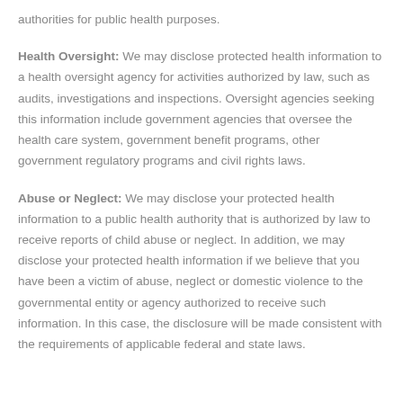authorities for public health purposes.
Health Oversight: We may disclose protected health information to a health oversight agency for activities authorized by law, such as audits, investigations and inspections. Oversight agencies seeking this information include government agencies that oversee the health care system, government benefit programs, other government regulatory programs and civil rights laws.
Abuse or Neglect: We may disclose your protected health information to a public health authority that is authorized by law to receive reports of child abuse or neglect. In addition, we may disclose your protected health information if we believe that you have been a victim of abuse, neglect or domestic violence to the governmental entity or agency authorized to receive such information. In this case, the disclosure will be made consistent with the requirements of applicable federal and state laws.